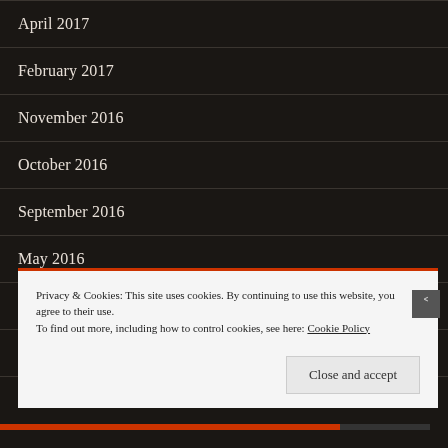April 2017
February 2017
November 2016
October 2016
September 2016
May 2016
March 2016
February 2016
January 2016
Privacy & Cookies: This site uses cookies. By continuing to use this website, you agree to their use.
To find out more, including how to control cookies, see here: Cookie Policy
Close and accept